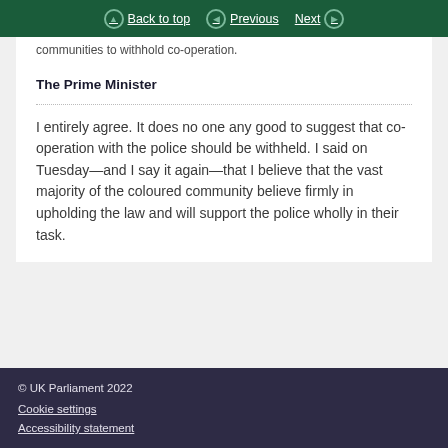Back to top   Previous   Next
communities to withhold co-operation.
The Prime Minister
I entirely agree. It does no one any good to suggest that co-operation with the police should be withheld. I said on Tuesday—and I say it again—that I believe that the vast majority of the coloured community believe firmly in upholding the law and will support the police wholly in their task.
© UK Parliament 2022
Cookie settings
Accessibility statement